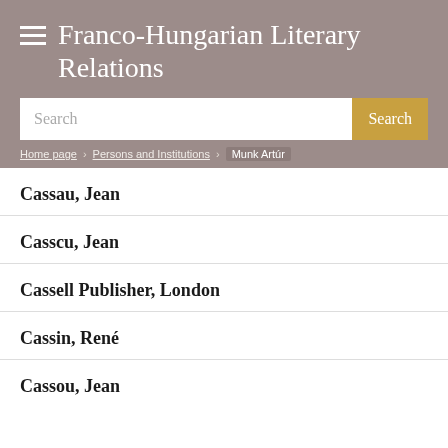Franco-Hungarian Literary Relations
Search
Home page > Persons and Institutions > Munk Artúr
Cassau, Jean
Casscu, Jean
Cassell Publisher, London
Cassin, René
Cassou, Jean